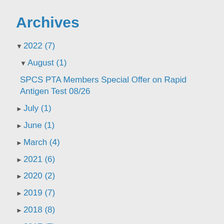Archives
▼ 2022 (7)
▼ August (1)
SPCS PTA Members Special Offer on Rapid Antigen Test 08/26
► July (1)
► June (1)
► March (4)
► 2021 (6)
► 2020 (2)
► 2019 (7)
► 2018 (8)
► 2017 (7)
► 2016 (6)
► 2015 (7)